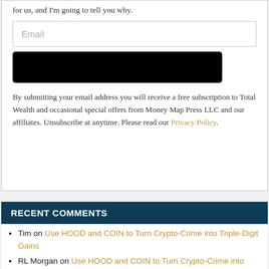for us, and I'm going to tell you why.
Email
[Figure (other): Black submit button (redacted/blacked out)]
By submitting your email address you will receive a free subscription to Total Wealth and occasional special offers from Money Map Press LLC and our affiliates. Unsubscribe at anytime. Please read our Privacy Policy.
RECENT COMMENTS
Tim on Use HOOD and COIN to Turn Crypto-Crime into Triple-Digit Gains
RL Morgan on Use HOOD and COIN to Turn Crypto-Crime into